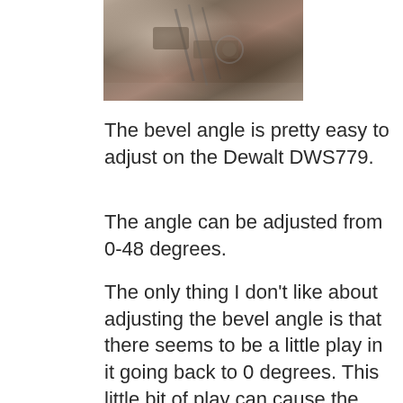[Figure (photo): Partial photo of power saw bevel angle adjustment mechanism, cropped at the top of the page]
The bevel angle is pretty easy to adjust on the Dewalt DWS779.
The angle can be adjusted from 0-48 degrees.
The only thing I don't like about adjusting the bevel angle is that there seems to be a little play in it going back to 0 degrees. This little bit of play can cause the saw to be off by a hair if you are not careful when setting the angle back to 0. This is not a huge deal, but it is important to consider before making a cut on an